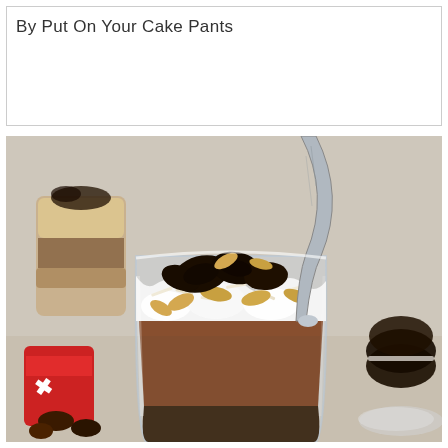By Put On Your Cake Pants
[Figure (photo): A glass dessert cup filled with layered chocolate mousse, whipped cream, sliced almonds, shredded coconut, and crushed Oreo cookies on top, with a metal spoon inserted. A second smaller glass with the same dessert is visible in the background, along with chocolate candies and an Oreo cookie package.]